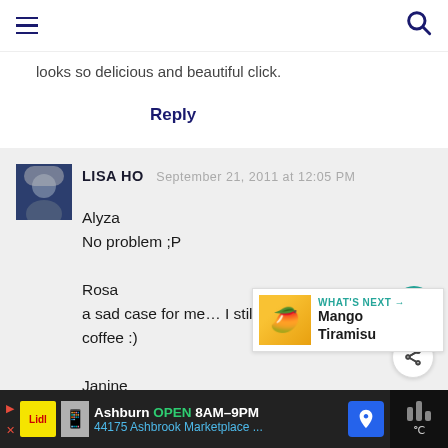[hamburger menu] [search icon]
looks so delicious and beautiful click.
Reply
LISA HO   September 21, 2011 at 12:05 PM
Alyza
No problem ;P

Rosa
a sad case for me… I still love the aroma of coffee :)

Janine
Tea too?
I can't function without my cuppa in the
WHAT'S NEXT → Mango Tiramisu
Ashburn  OPEN  8AM–9PM  44175 Ashbrook Marketplace ...